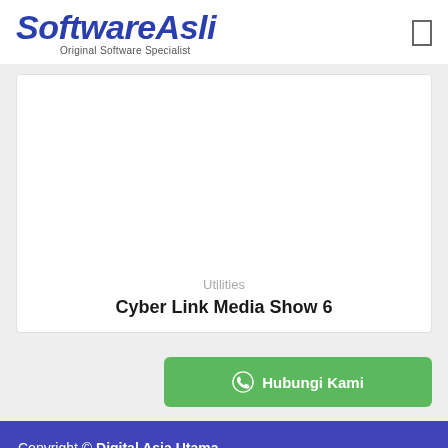[Figure (logo): SoftwareAsli logo with blue bold italic text and subtitle 'Original Software Specialist']
Utilities
Cyber Link Media Show 6
Hubungi Kami
Copyright © Digital Asia Utama – Jakarta, Indonesia